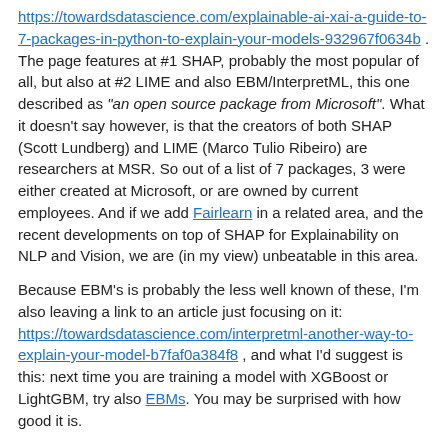https://towardsdatascience.com/explainable-ai-xai-a-guide-to-7-packages-in-python-to-explain-your-models-932967f0634b . The page features at #1 SHAP, probably the most popular of all, but also at #2 LIME and also EBM/InterpretML, this one described as "an open source package from Microsoft". What it doesn't say however, is that the creators of both SHAP (Scott Lundberg) and LIME (Marco Tulio Ribeiro) are researchers at MSR. So out of a list of 7 packages, 3 were either created at Microsoft, or are owned by current employees. And if we add Fairlearn in a related area, and the recent developments on top of SHAP for Explainability on NLP and Vision, we are (in my view) unbeatable in this area.
Because EBM's is probably the less well known of these, I'm also leaving a link to an article just focusing on it: https://towardsdatascience.com/interpretml-another-way-to-explain-your-model-b7faf0a384f8 , and what I'd suggest is this: next time you are training a model with XGBoost or LightGBM, try also EBMs. You may be surprised with how good it is.